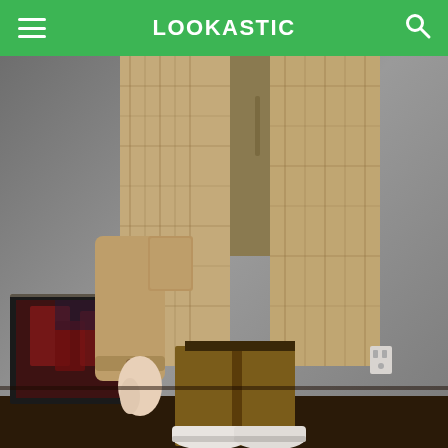LOOKASTIC
[Figure (photo): A person wearing a brown plaid overcoat, olive/khaki hoodie underneath, mustard brown slim trousers, and white sneakers. Standing against a gray wall with a framed sports print leaning against the wall on the left. Dark wood floor visible at the bottom.]